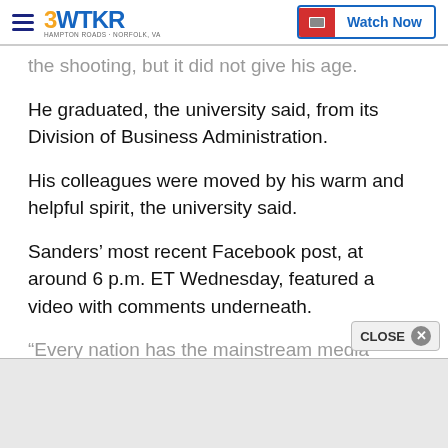3WTKR | Watch Now
the shooting, but it did not give his age.
He graduated, the university said, from its Division of Business Administration.
His colleagues were moved by his warm and helpful spirit, the university said.
Sanders’ most recent Facebook post, at around 6 p.m. ET Wednesday, featured a video with comments underneath.
“Every nation has the mainstream media treatable…